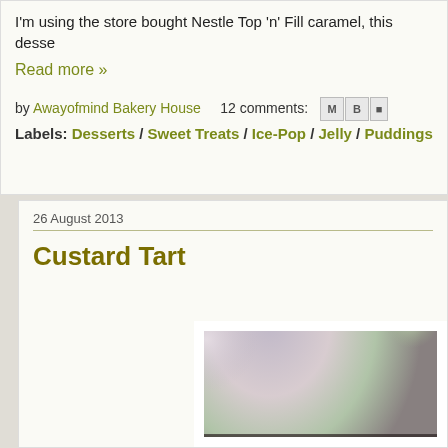I'm using the store bought Nestle Top 'n' Fill caramel, this dessert
Read more »
by Awayofmind Bakery House     12 comments:
Labels: Desserts / Sweet Treats / Ice-Pop / Jelly / Puddings
26 August 2013
Custard Tart
[Figure (photo): Close-up photo of a custard tart with golden pastry crust, blurred colorful background]